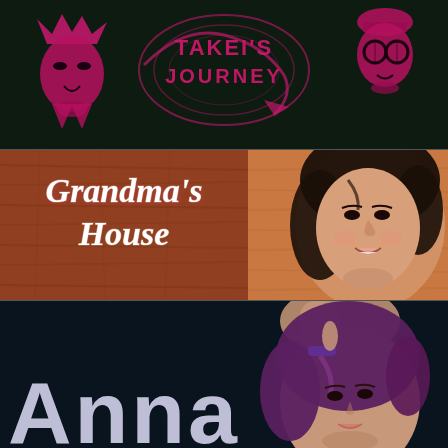[Figure (illustration): Game cover art for 'Takei's Journey' - dark green background with pink/magenta anime-style character faces on left and right, and stylized logo text 'TAKEI'S JOURNEY' in the center with a swirling design.]
[Figure (illustration): Game cover art for 'Grandma's House' - warm brown/orange wood-textured background on the left half with white cursive text reading 'Grandma's House', and the right half showing a 3D rendered young Asian woman's face with dark hair.]
[Figure (illustration): Game cover art for 'Anna' - dark teal/black background on the left with large bold white/light purple text reading 'Anna', and the right side showing a 3D rendered young woman with purple hair and accessories.]